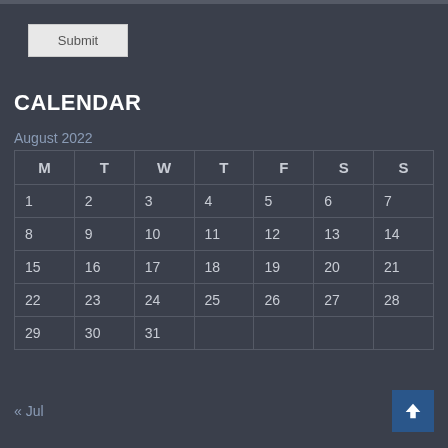Submit
CALENDAR
| M | T | W | T | F | S | S |
| --- | --- | --- | --- | --- | --- | --- |
| 1 | 2 | 3 | 4 | 5 | 6 | 7 |
| 8 | 9 | 10 | 11 | 12 | 13 | 14 |
| 15 | 16 | 17 | 18 | 19 | 20 | 21 |
| 22 | 23 | 24 | 25 | 26 | 27 | 28 |
| 29 | 30 | 31 |  |  |  |  |
« Jul